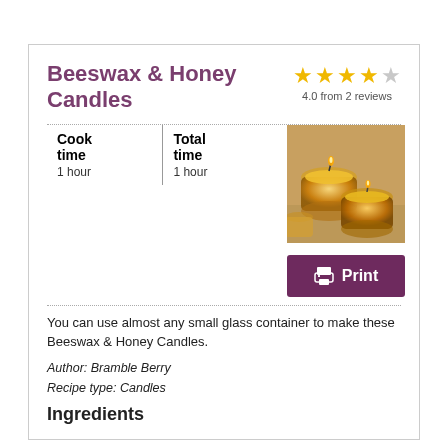Beeswax & Honey Candles
4.0 from 2 reviews
| Cook time | Total time |
| --- | --- |
| 1 hour | 1 hour |
[Figure (photo): Beeswax candles in small glass containers, golden yellow color]
[Figure (other): Print button with printer icon]
You can use almost any small glass container to make these Beeswax & Honey Candles.
Author: Bramble Berry
Recipe type: Candles
Ingredients